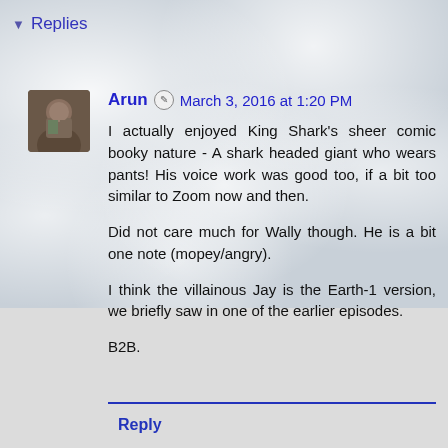▼ Replies
Arun ✎ March 3, 2016 at 1:20 PM
I actually enjoyed King Shark's sheer comic booky nature - A shark headed giant who wears pants! His voice work was good too, if a bit too similar to Zoom now and then.

Did not care much for Wally though. He is a bit one note (mopey/angry).

I think the villainous Jay is the Earth-1 version, we briefly saw in one of the earlier episodes.

B2B.
Reply